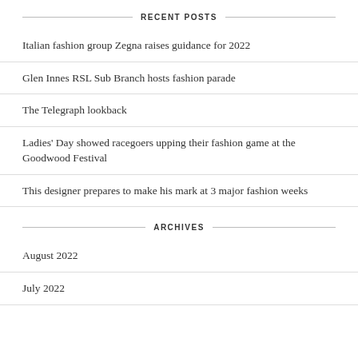RECENT POSTS
Italian fashion group Zegna raises guidance for 2022
Glen Innes RSL Sub Branch hosts fashion parade
The Telegraph lookback
Ladies' Day showed racegoers upping their fashion game at the Goodwood Festival
This designer prepares to make his mark at 3 major fashion weeks
ARCHIVES
August 2022
July 2022